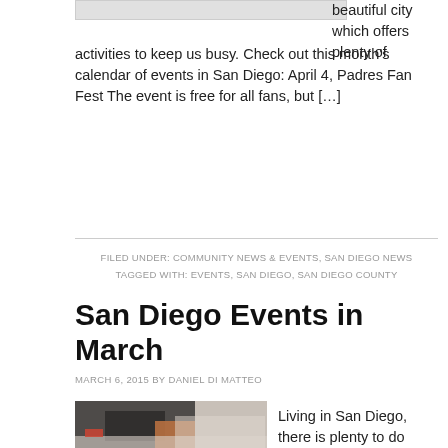[Figure (photo): Top partial image placeholder (gray bar)]
beautiful city which offers plenty of activities to keep us busy. Check out this month's calendar of events in San Diego: April 4, Padres Fan Fest The event is free for all fans, but […]
FILED UNDER: COMMUNITY NEWS & EVENTS, SAN DIEGO NEWS
TAGGED WITH: EVENTS, SAN DIEGO, SAN DIEGO COUNTY
San Diego Events in March
MARCH 6, 2015 BY DANIEL DI MATTEO
[Figure (photo): Photo of person walking up steps, wearing dark pants and brown shoes, with red shoes visible in background]
Living in San Diego, there is plenty to do around town all year long. This month is no exception. Check